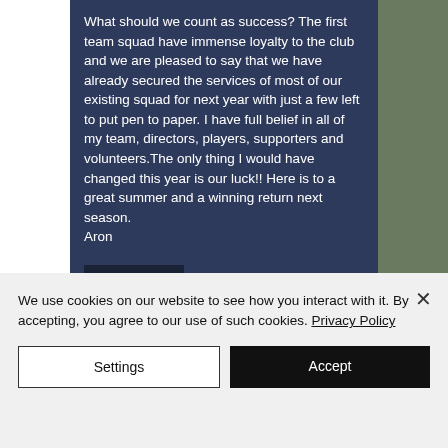What should we count as success? The first team squad have immense loyalty to the club and we are pleased to say that we have already secured the services of most of our existing squad for next year with just a few left to put pen to paper. I have full belief in all of my team, directors, players, supporters and volunteers.The only thing I would have changed this year is our luck!! Here is to a great summer and a winning return next season. Aron
Chairman
[Figure (photo): Outdoor photo showing trees and a stadium building with signage]
We use cookies on our website to see how you interact with it. By accepting, you agree to our use of such cookies. Privacy Policy
Settings
Accept